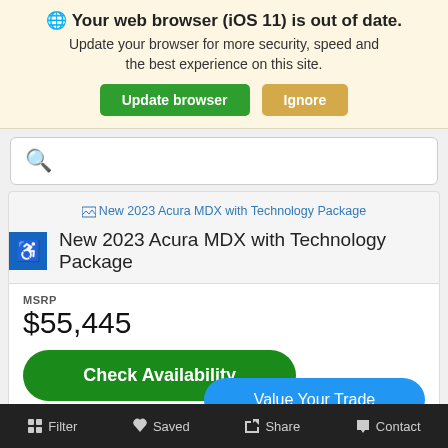🌐 Your web browser (iOS 11) is out of date. Update your browser for more security, speed and the best experience on this site.
Update browser | Ignore
[Figure (screenshot): Search bar with magnifying glass icon]
[Figure (screenshot): Car listing image placeholder for New 2023 Acura MDX with Technology Package]
New 2023 Acura MDX with Technology Package
MSRP
$55,445
Check Availability
Value Your Trade
Stock #: 22646
Filter  Saved  Share  Contact